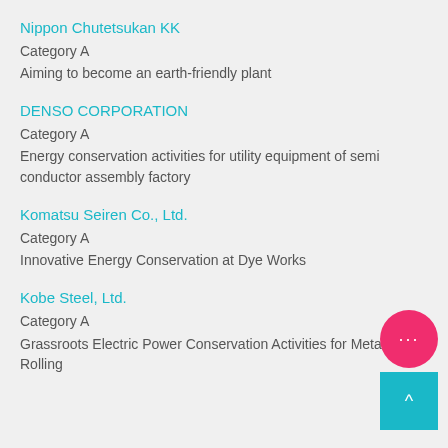Nippon Chutetsukan KK
Category A
Aiming to become an earth-friendly plant
DENSO CORPORATION
Category A
Energy conservation activities for utility equipment of semi conductor assembly factory
Komatsu Seiren Co., Ltd.
Category A
Innovative Energy Conservation at Dye Works
Kobe Steel, Ltd.
Category A
Grassroots Electric Power Conservation Activities for Metal Rolling